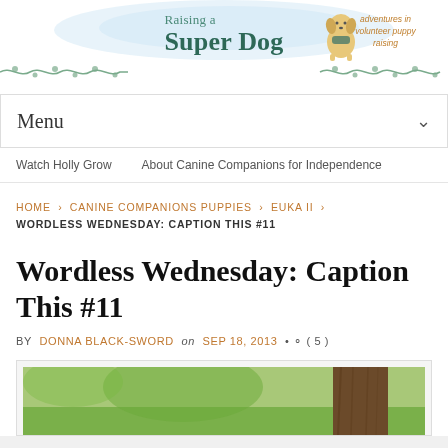[Figure (logo): Raising a Super Dog blog header banner with illustrated golden retriever, teal/green text, watercolor blue splash background, and vine decorations. Text reads 'Raising a Super Dog - adventures in volunteer puppy raising']
Menu ✓
Watch Holly Grow    About Canine Companions for Independence
HOME › CANINE COMPANIONS PUPPIES › EUKA II › WORDLESS WEDNESDAY: CAPTION THIS #11
Wordless Wednesday: Caption This #11
BY DONNA BLACK-SWORD on SEP 18, 2013 • ○ ( 5 )
[Figure (photo): Partial photo of a dog outdoors near a tree, with green grass and tree bark visible]